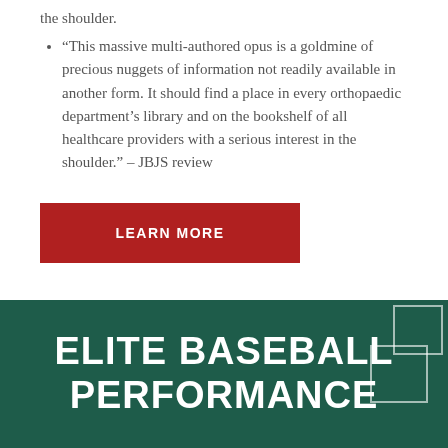the shoulder.
“This massive multi-authored opus is a goldmine of precious nuggets of information not readily available in another form. It should find a place in every orthopaedic department’s library and on the bookshelf of all healthcare providers with a serious interest in the shoulder.” – JBJS review
LEARN MORE
ELITE BASEBALL PERFORMANCE